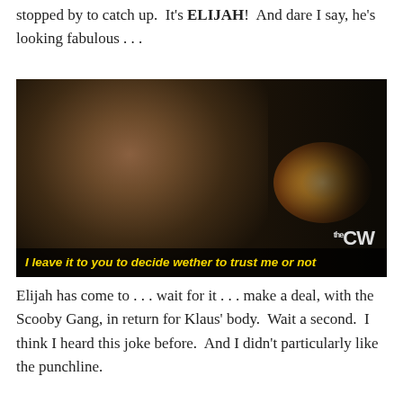stopped by to catch up.  It's ELIJAH!  And dare I say, he's looking fabulous . . .
[Figure (photo): Dark atmospheric still from a TV show showing a man's face in dramatic lighting with a warm light orb behind him. Subtitle bar at bottom reads: 'I leave it to you to decide wether to trust me or not' in bold italic yellow text. CW network logo visible in lower right.]
Elijah has come to . . . wait for it . . . make a deal, with the Scooby Gang, in return for Klaus' body.  Wait a second.  I think I heard this joke before.  And I didn't particularly like the punchline.